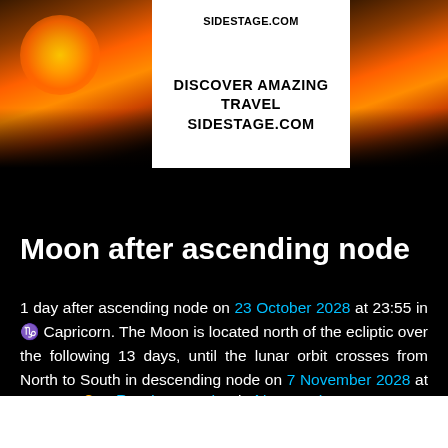[Figure (photo): Advertisement banner for sidestage.com showing travel images with sunset/rocky landscape on both sides and white text box in center reading DISCOVER AMAZING TRAVEL SIDESTAGE.COM]
Moon after ascending node
1 day after ascending node on 23 October 2028 at 23:55 in ♑ Capricorn. The Moon is located north of the ecliptic over the following 13 days, until the lunar orbit crosses from North to South in descending node on 7 November 2028 at 12:08 in ♋ Cancer.
← Previous node | Next node →